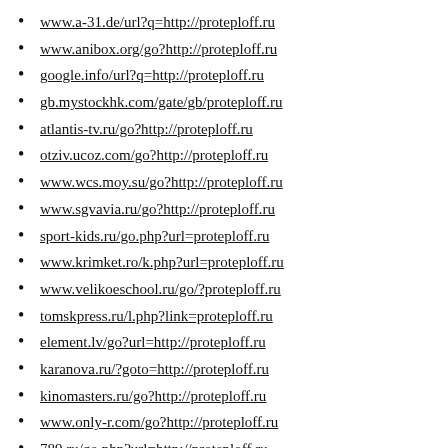www.a-31.de/url?q=http://proteploff.ru
www.anibox.org/go?http://proteploff.ru
google.info/url?q=http://proteploff.ru
gb.mystockhk.com/gate/gb/proteploff.ru
atlantis-tv.ru/go?http://proteploff.ru
otziv.ucoz.com/go?http://proteploff.ru
www.wcs.moy.su/go?http://proteploff.ru
www.sgvavia.ru/go?http://proteploff.ru
sport-kids.ru/go.php?url=proteploff.ru
www.krimket.ro/k.php?url=proteploff.ru
www.velikoeschool.ru/go/?proteploff.ru
tomskpress.ru/l.php?link=proteploff.ru
element.lv/go?url=http://proteploff.ru
karanova.ru/?goto=http://proteploff.ru
kinomasters.ru/go?http://proteploff.ru
www.only-r.com/go?http://proteploff.ru
789.ru/go.php?url=http://proteploff.ru
youtubu.tv/jump?l=http://proteploff.ru
www.pwnights.ru/redirect/proteploff.ru